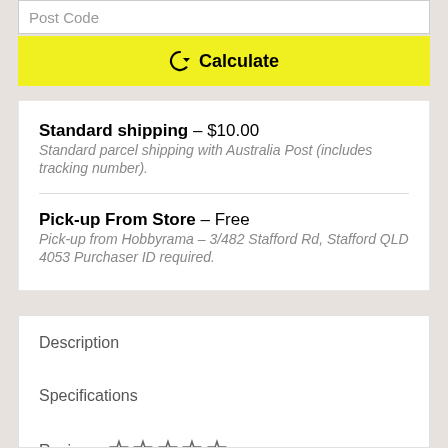[Figure (screenshot): Post Code input field (partially visible at top)]
↻ Calculate
Standard shipping - $10.00
Standard parcel shipping with Australia Post (includes tracking number).
Pick-up From Store - Free
Pick-up from Hobbyrama - 3/482 Stafford Rd, Stafford QLD 4053 Purchaser ID required.
Description
Specifications
Reviews ☆☆☆☆☆